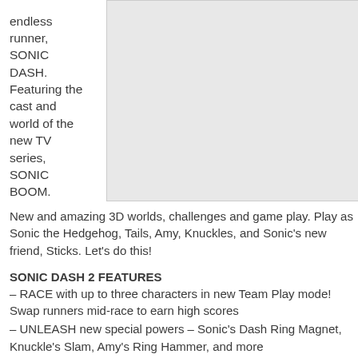SEGA's hit endless runner, SONIC DASH. Featuring the cast and world of the new TV series, SONIC BOOM.
[Figure (illustration): Gray placeholder image area on the right side of the page]
New and amazing 3D worlds, challenges and game play. Play as Sonic the Hedgehog, Tails, Amy, Knuckles, and Sonic's new friend, Sticks. Let's do this!
SONIC DASH 2 FEATURES
– RACE with up to three characters in new Team Play mode! Swap runners mid-race to earn high scores
– UNLEASH new special powers – Sonic's Dash Ring Magnet, Knuckle's Slam, Amy's Ring Hammer, and more